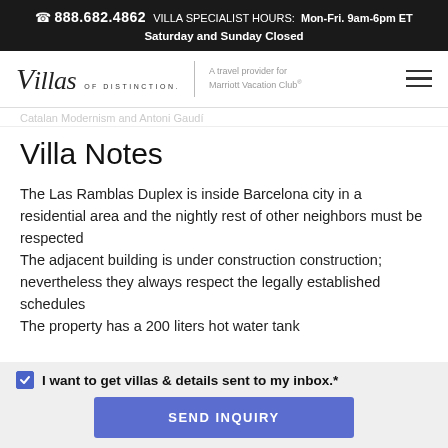☎ 888.682.4862  VILLA SPECIALIST HOURS:  Mon-Fri. 9am-6pm ET
Saturday and Sunday Closed
[Figure (logo): Villas of Distinction logo with tagline 'A travel provider for Marriott Vacation Club']
Catalan Modernism and Antoni Gaudí
Villa Notes
The Las Ramblas Duplex is inside Barcelona city in a residential area and the nightly rest of other neighbors must be respected
The adjacent building is under construction construction; nevertheless they always respect the legally established schedules
The property has a 200 liters hot water tank
I want to get villas & details sent to my inbox.*
SEND INQUIRY